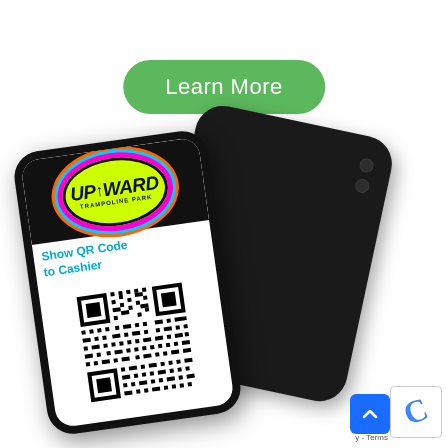Learn More
[Figure (photo): Two smartphones displayed at an angle. The front phone shows the Upward Trampoline Park logo and text 'Show QR Code to Cashier' along with a QR code on its screen. The back phone is black showing only its rear with camera bumps.]
y - Terms